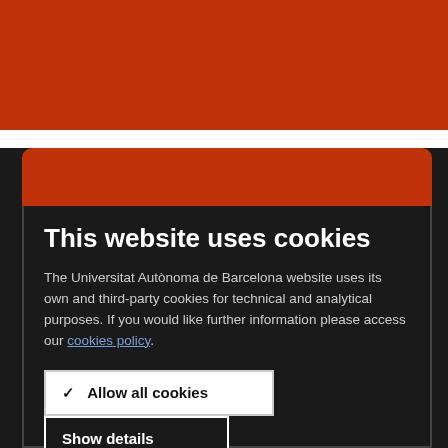[Figure (screenshot): Red header bar of Universitat Autònoma de Barcelona website]
[Figure (screenshot): Red rounded tab element at top of cookie consent modal]
This website uses cookies
The Universitat Autònoma de Barcelona website uses its own and third-party cookies for technical and analytical purposes. If you would like further information please access our cookies policy.
✓ Allow all cookies
Show details